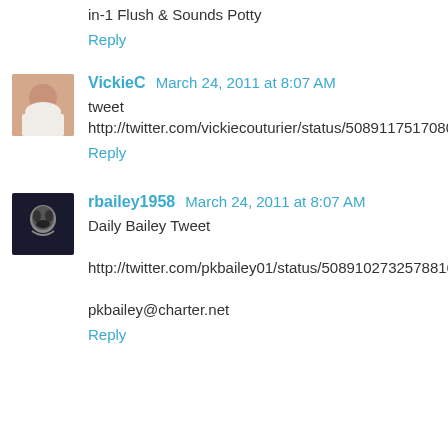in-1 Flush & Sounds Potty
Reply
VickieC  March 24, 2011 at 8:07 AM
tweet
http://twitter.com/vickiecouturier/status/50891175170801664
Reply
rbailey1958  March 24, 2011 at 8:07 AM
Daily Bailey Tweet

http://twitter.com/pkbailey01/status/50891027325788160

pkbailey@charter.net
Reply